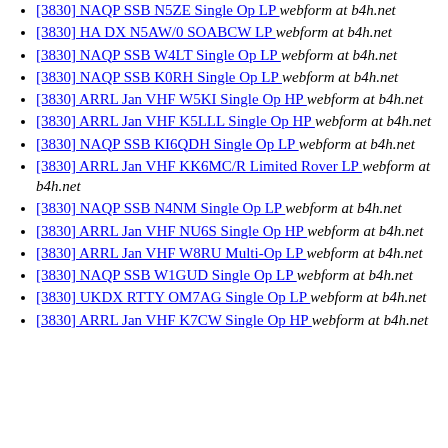[3830] NAQP SSB N5ZE Single Op LP  webform at b4h.net
[3830] HA DX N5AW/0 SOABCW LP  webform at b4h.net
[3830] NAQP SSB W4LT Single Op LP  webform at b4h.net
[3830] NAQP SSB K0RH Single Op LP  webform at b4h.net
[3830] ARRL Jan VHF W5KI Single Op HP  webform at b4h.net
[3830] ARRL Jan VHF K5LLL Single Op HP  webform at b4h.net
[3830] NAQP SSB KI6QDH Single Op LP  webform at b4h.net
[3830] ARRL Jan VHF KK6MC/R Limited Rover LP  webform at b4h.net
[3830] NAQP SSB N4NM Single Op LP  webform at b4h.net
[3830] ARRL Jan VHF NU6S Single Op HP  webform at b4h.net
[3830] ARRL Jan VHF W8RU Multi-Op LP  webform at b4h.net
[3830] NAQP SSB W1GUD Single Op LP  webform at b4h.net
[3830] UKDX RTTY OM7AG Single Op LP  webform at b4h.net
[3830] ARRL Jan VHF K7CW Single Op HP  webform at b4h.net